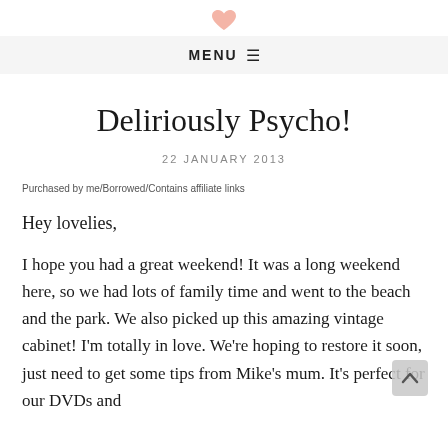[Figure (illustration): Small pink/salmon heart logo at the top of the page]
MENU ☰
Deliriously Psycho!
22 JANUARY 2013
Purchased by me/Borrowed/Contains affiliate links
Hey lovelies,
I hope you had a great weekend! It was a long weekend here, so we had lots of family time and went to the beach and the park. We also picked up this amazing vintage cabinet! I'm totally in love. We're hoping to restore it soon, just need to get some tips from Mike's mum. It's perfect for our DVDs and